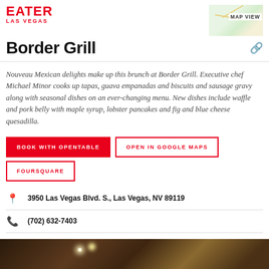EATER LAS VEGAS
Border Grill
Nouveau Mexican delights make up this brunch at Border Grill. Executive chef Michael Minor cooks up tapas, guava empanadas and biscuits and sausage gravy along with seasonal dishes on an ever-changing menu. New dishes include waffle and pork belly with maple syrup, lobster pancakes and fig and blue cheese quesadilla.
BOOK WITH OPENTABLE
OPEN IN GOOGLE MAPS
FOURSQUARE
3950 Las Vegas Blvd. S., Las Vegas, NV 89119
(702) 632-7403
Visit Website
[Figure (photo): Dark interior restaurant photo strip at bottom of page]